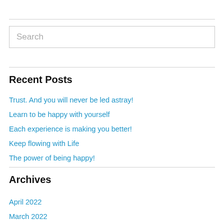Search
Recent Posts
Trust. And you will never be led astray!
Learn to be happy with yourself
Each experience is making you better!
Keep flowing with Life
The power of being happy!
Archives
April 2022
March 2022
January 2022